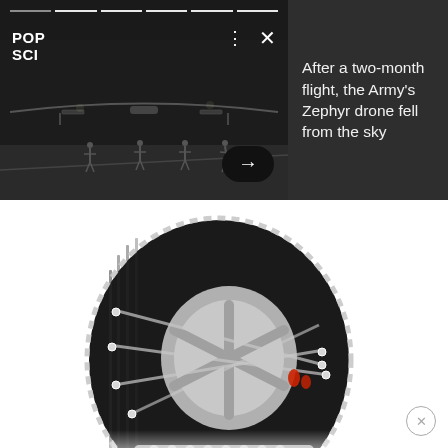[Figure (screenshot): Top banner with two sections: left side shows a dark nighttime photo of a large drone (Zephyr) on a runway with people standing around it, overlaid with POP SCI logo, progress bar dots, three-dots menu and X close icons, and a black oval arrow button. Right side is a dark grey panel with headline text.]
After a two-month flight, the Army's Zephyr drone fell from the sky
[Figure (photo): Close-up photo of a car tire fitted with metal snow chains, on a white background. The chains are silver/metallic with red fastening clip visible. The tire is black with tread pattern, mounted on a silver alloy wheel.]